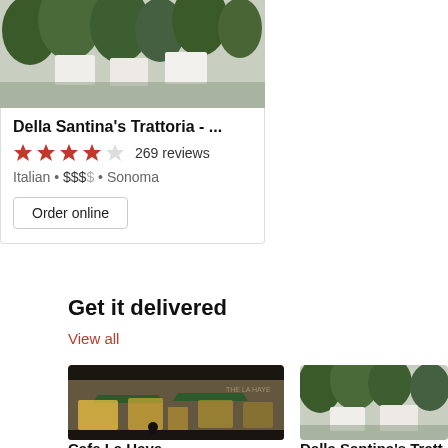[Figure (photo): Outdoor dining area with tables covered in white cloths, surrounded by trees and greenery]
Della Santina's Trattoria - ...
4.5 stars · 269 reviews
Italian · $$$$ · Sonoma
Order online
Get it delivered
View all
[Figure (photo): Storefront of Cafe La Haye at night with green awnings and warm interior lighting]
[Figure (photo): Outdoor dining area of Della Santina's Trattoria with trees]
Cafe La Haye
Della Santina's Tratt...